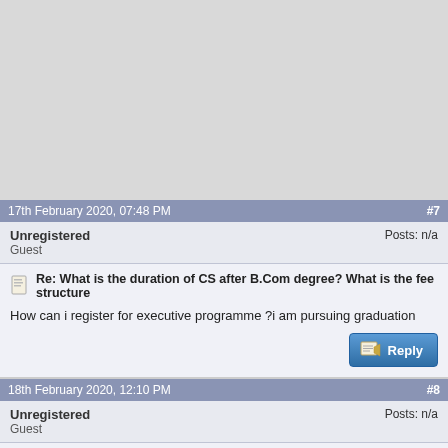[Figure (other): Gray advertisement/banner placeholder area]
17th February 2020, 07:48 PM  #7
Unregistered
Guest
Posts: n/a
Re: What is the duration of CS after B.Com degree? What is the fee structure
How can i register for executive programme ?i am pursuing graduation
18th February 2020, 12:10 PM  #8
Unregistered
Guest
Posts: n/a
Re: What is the duration of CS after B.Com degree? What is the fee structure